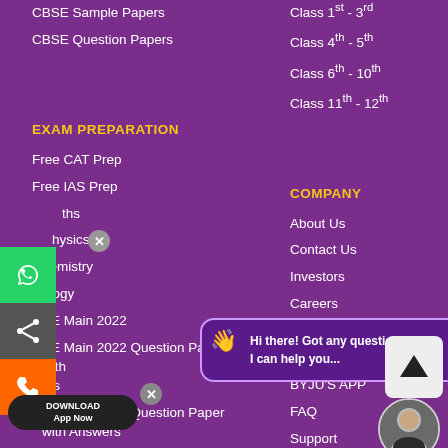CBSE Sample Papers
CBSE Question Papers
EXAM PREPARATION
Free CAT Prep
Free IAS Prep
Maths
Physics
Chemistry
Biology
JEE Main 2022
JEE Main 2022 Question Papers with Answers
JEE Advanced 2022 Question Paper with Answers
NEET 2022 Answer Key
Class 1st - 3rd
Class 4th - 5th
Class 6th - 10th
Class 11th - 12th
COMPANY
About Us
Contact Us
Investors
Careers
BYJU'S in Media
Education
BYJU'S APP
FAQ
Support
Blog
[Figure (other): WhatsApp contact button]
[Figure (other): Share button]
[Figure (other): Phone/call button]
[Figure (other): Download App Now badge]
Hi there! Got any questions? I can help you...
[Figure (other): Scroll to top up-arrow button]
[Figure (photo): Avatar/profile photo circle]